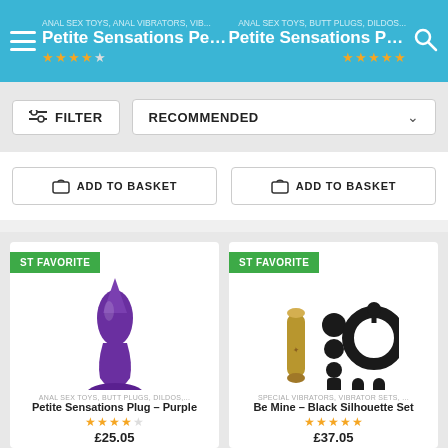Petite Sensations Pearl – Purple | Petite Sensations Plug – Black
FILTER | RECOMMENDED
ADD TO BASKET | ADD TO BASKET
[Figure (photo): Purple vibrating anal plug with gold tip on white background, ST FAVORITE badge]
ANAL SEX TOYS, BUTT PLUGS, DILDOS,...
Petite Sensations Plug – Purple
3.5 star rating, price starts with £25.05
[Figure (photo): Be Mine Black Silhouette Set - gold bullet vibrator, black beaded plug, black cock ring on white background, ST FAVORITE badge]
SPECIAL VIBRATORS, VIBRATOR SETS, ...
Be Mine – Black Silhouette Set
5 star rating, price starts with £37.05